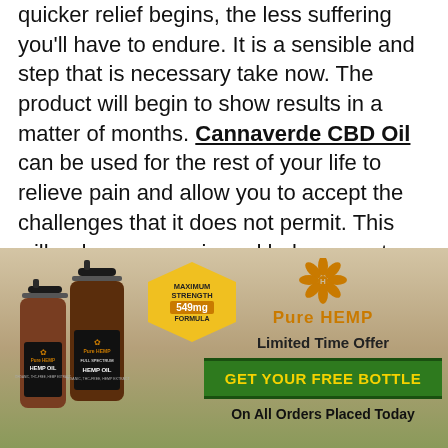quicker relief begins, the less suffering you'll have to endure. It is a sensible and step that is necessary take now. The product will begin to show results in a matter of months. Cannaverde CBD Oil can be used for the rest of your life to relieve pain and allow you to accept the challenges that it does not permit. This will reduce your pain and help you get quickly rid of it.
[Figure (infographic): Advertisement for Pure Hemp CBD Oil showing two amber dropper bottles with dark labels reading 'Hemp Oil', a yellow hexagonal badge saying 'Maximum Strength 549mg Formula', and text on the right reading 'Pure HEMP', 'Limited Time Offer', 'GET YOUR FREE BOTTLE', 'On All Orders Placed Today']